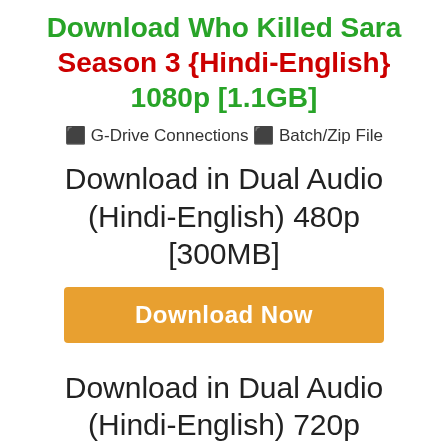Download Who Killed Sara Season 3 {Hindi-English} 1080p [1.1GB]
⬛ G-Drive Connections ⬛ Batch/Zip File
Download in Dual Audio (Hindi-English) 480p [300MB]
Download Now
Download in Dual Audio (Hindi-English) 720p